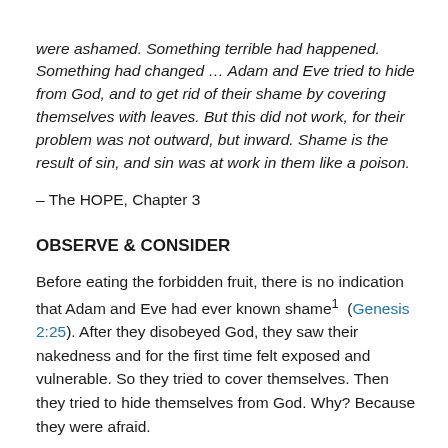were ashamed. Something terrible had happened. Something had changed … Adam and Eve tried to hide from God, and to get rid of their shame by covering themselves with leaves. But this did not work, for their problem was not outward, but inward. Shame is the result of sin, and sin was at work in them like a poison.
– The HOPE, Chapter 3
OBSERVE & CONSIDER
Before eating the forbidden fruit, there is no indication that Adam and Eve had ever known shame1  (Genesis 2:25). After they disobeyed God, they saw their nakedness and for the first time felt exposed and vulnerable. So they tried to cover themselves. Then they tried to hide themselves from God. Why? Because they were afraid. The next verse, we are told, God came...